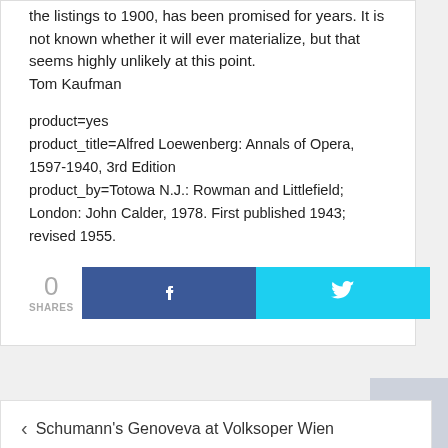the listings to 1900, has been promised for years. It is not known whether it will ever materialize, but that seems highly unlikely at this point.
Tom Kaufman
product=yes
product_title=Alfred Loewenberg: Annals of Opera, 1597-1940, 3rd Edition
product_by=Totowa N.J.: Rowman and Littlefield; London: John Calder, 1978. First published 1943; revised 1955.
[Figure (infographic): Social share buttons: 0 SHARES, Facebook button, Twitter button]
‹ Schumann's Genoveva at Volksoper Wien